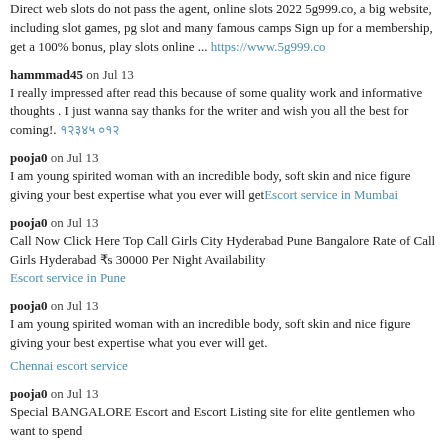Direct web slots do not pass the agent, online slots 2022 5g999.co, a big website, including slot games, pg slot and many famous camps Sign up for a membership, get a 100% bonus, play slots online ... https://www.5g999.co
hammmad45 on Jul 13
I really impressed after read this because of some quality work and informative thoughts . I just wanna say thanks for the writer and wish you all the best for coming!. [link]
pooja0 on Jul 13
I am young spirited woman with an incredible body, soft skin and nice figure giving your best expertise what you ever will getEscort service in Mumbai
pooja0 on Jul 13
Call Now Click Here Top Call Girls City Hyderabad Pune Bangalore Rate of Call Girls Hyderabad Rs 30000 Per Night Availability
Escort service in Pune
pooja0 on Jul 13
I am young spirited woman with an incredible body, soft skin and nice figure giving your best expertise what you ever will get.
Chennai escort service
pooja0 on Jul 13
Special BANGALORE Escort and Escort Listing site for elite gentlemen who want to spend